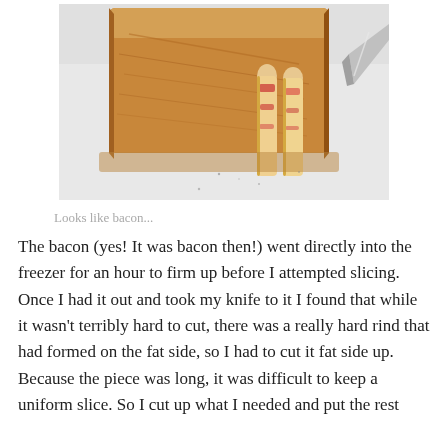[Figure (photo): A slab of bacon on a white cutting board with two sliced strips of bacon visible and a knife blade partially in frame. The bacon slab is large and rectangular, browned on the outside, with pink and red meat visible in the slices.]
Looks like bacon...
The bacon (yes! It was bacon then!) went directly into the freezer for an hour to firm up before I attempted slicing. Once I had it out and took my knife to it I found that while it wasn't terribly hard to cut, there was a really hard rind that had formed on the fat side, so I had to cut it fat side up. Because the piece was long, it was difficult to keep a uniform slice. So I cut up what I needed and put the rest